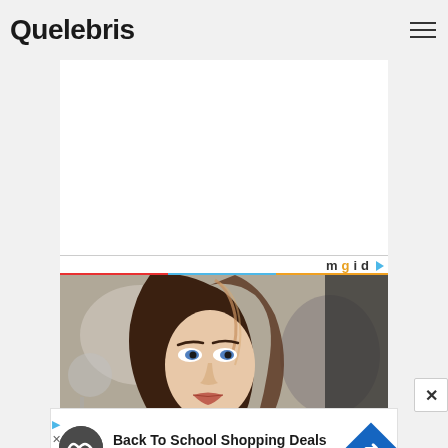Quelebris
[Figure (other): mgid advertisement placeholder area with white background]
[Figure (photo): Woman with long brown hair, photoshoot style, looking at camera with another figure in background]
[Figure (other): Advertisement banner: Back To School Shopping Deals - Leesburg Premium Outlets, with infinity logo circle and blue diamond arrow icon]